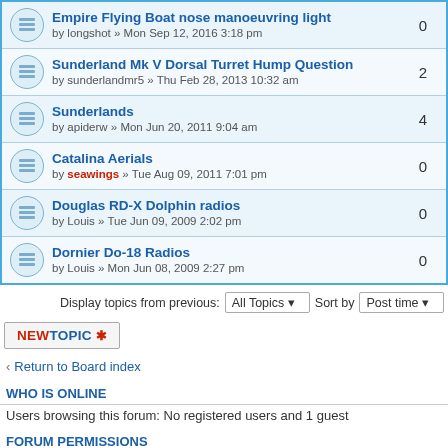Empire Flying Boat nose manoeuvring light by longshot » Mon Sep 12, 2016 3:18 pm — replies: 0
Sunderland Mk V Dorsal Turret Hump Question by sunderlandmr5 » Thu Feb 28, 2013 10:32 am — replies: 2
Sunderlands by apiderw » Mon Jun 20, 2011 9:04 am — replies: 4
Catalina Aerials by seawings » Tue Aug 09, 2011 7:01 pm — replies: 0
Douglas RD-X Dolphin radios by Louis » Tue Jun 09, 2009 2:02 pm — replies: 0
Dornier Do-18 Radios by Louis » Mon Jun 08, 2009 2:27 pm — replies: 0
Display topics from previous: All Topics  Sort by  Post time
NEWTOPIC *
Return to Board index
WHO IS ONLINE
Users browsing this forum: No registered users and 1 guest
FORUM PERMISSIONS